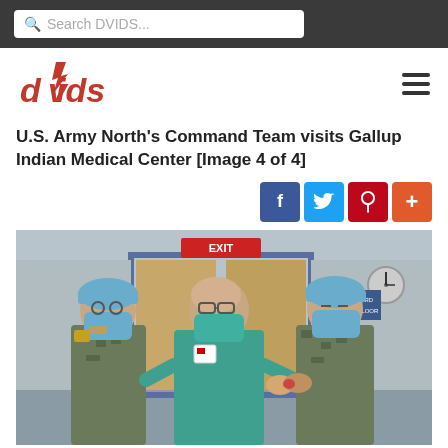Search DVIDS...
[Figure (logo): DVIDS logo in red]
U.S. Army North's Command Team visits Gallup Indian Medical Center [Image 4 of 4]
[Figure (photo): Three people wearing masks and surgical caps, two in military camouflage uniforms and one in teal scrubs, standing in front of wooden doors inside a medical facility with an EXIT sign visible above.]